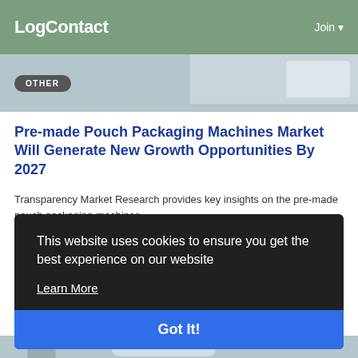LogContact  Join
[Figure (other): Article thumbnail image strip with a gray/blue background showing partial graphic elements and an OTHER badge]
Pre-made Pouch Packaging Machines Market Will Generate New Growth Opportunities By 2027
Transparency Market Research provides key insights on the pre-made pouch packaging machines...
By Revati Mahajan  8 months ago  0  141
This website uses cookies to ensure you get the best experience on our website
Learn More
Got It!